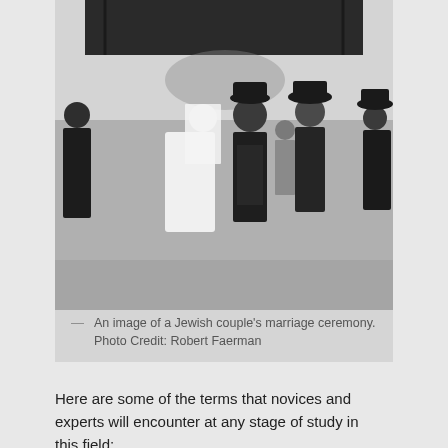[Figure (photo): Black and white photograph of a Jewish couple's marriage ceremony. A bride in white dress and veil stands next to a groom in a black hat and suit. Several other people in traditional dress are visible, with a dark canopy (chuppah) overhead.]
An image of a Jewish couple's marriage ceremony. Photo Credit: Robert Faerman
Here are some of the terms that novices and experts will encounter at any stage of study in this field:
aliyah: (n.) one of many successive waves of immigration to Israel
Ashkenazi: (n. and adj.) Jewish people of European descent, excluding regions like Spain, Portugal, and